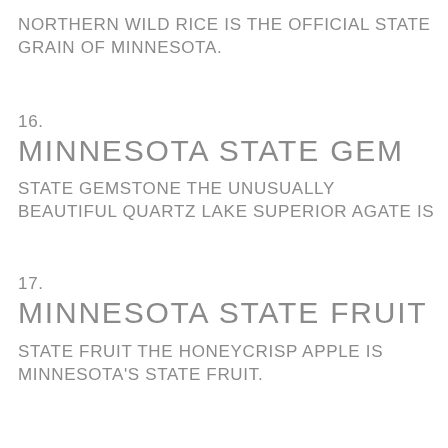NORTHERN WILD RICE IS THE OFFICIAL STATE GRAIN OF MINNESOTA.
16.
MINNESOTA STATE GEM
STATE GEMSTONE THE UNUSUALLY BEAUTIFUL QUARTZ LAKE SUPERIOR AGATE IS
17.
MINNESOTA STATE FRUIT
STATE FRUIT THE HONEYCRISP APPLE IS MINNESOTA'S STATE FRUIT.